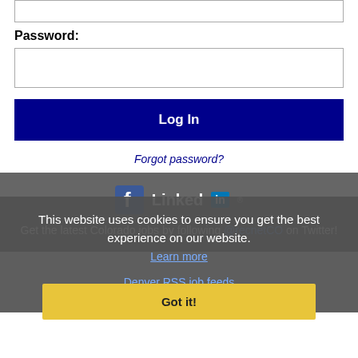[password input field top]
Password:
[password input field]
Log In
Forgot password?
[Figure (screenshot): Facebook and LinkedIn social media icons]
Get the latest Colorado jobs by following @recnetCO on Twitter!
Denver RSS job feeds
This website uses cookies to ensure you get the best experience on our website.
Learn more
Got it!